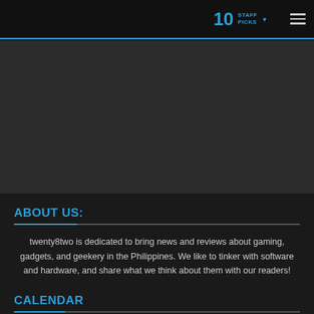10 STAFF PICKS
[Figure (other): Dark gray banner/advertisement area placeholder]
ABOUT US:
twenty8two is dedicated to bring news and reviews about gaming, gadgets, and geekery in the Philippines. We like to tinker with software and hardware, and share what we think about them with our readers!
CALENDAR
September 2022